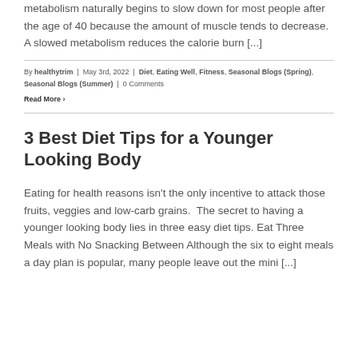metabolism naturally begins to slow down for most people after the age of 40 because the amount of muscle tends to decrease.  A slowed metabolism reduces the calorie burn [...]
By healthytrim | May 3rd, 2022 | Diet, Eating Well, Fitness, Seasonal Blogs (Spring), Seasonal Blogs (Summer) | 0 Comments
Read More ›
3 Best Diet Tips for a Younger Looking Body
Eating for health reasons isn't the only incentive to attack those fruits, veggies and low-carb grains.  The secret to having a younger looking body lies in three easy diet tips. Eat Three Meals with No Snacking Between Although the six to eight meals a day plan is popular, many people leave out the mini [...]